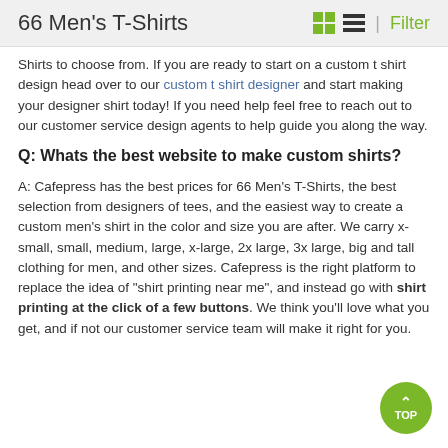66 Men's T-Shirts
Shirts to choose from. If you are ready to start on a custom t shirt design head over to our custom t shirt designer and start making your designer shirt today! If you need help feel free to reach out to our customer service design agents to help guide you along the way.
Q: Whats the best website to make custom shirts?
A: Cafepress has the best prices for 66 Men's T-Shirts, the best selection from designers of tees, and the easiest way to create a custom men's shirt in the color and size you are after. We carry x-small, small, medium, large, x-large, 2x large, 3x large, big and tall clothing for men, and other sizes. Cafepress is the right platform to replace the idea of "shirt printing near me", and instead go with shirt printing at the click of a few buttons. We think you'll love what you get, and if not our customer service team will make it right for you.